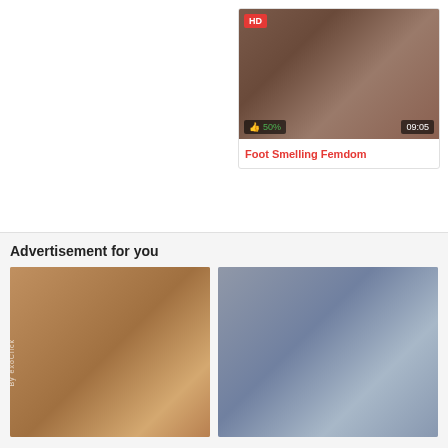[Figure (screenshot): Video thumbnail showing two people on a red sofa, one wearing a collar, with HD badge, 50% like rating, and 09:05 duration]
Foot Smelling Femdom
Advertisement for you
[Figure (photo): Advertisement image on the left showing two people]
[Figure (photo): Advertisement image on the right showing a person]